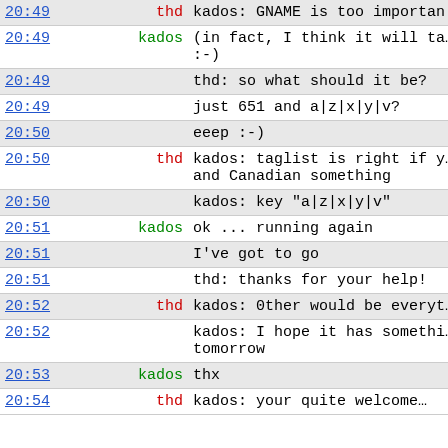| time | nick | message |
| --- | --- | --- |
| 20:49 | thd | kados: GNAME is too importan… |
| 20:49 | kados | (in fact, I think it will ta…
:-) |
| 20:49 |  | thd: so what should it be? |
| 20:49 |  | just 651 and a|z|x|y|v? |
| 20:50 |  | eeep :-) |
| 20:50 | thd | kados: taglist is right if y…
and Canadian something |
| 20:50 |  | kados: key "a|z|x|y|v" |
| 20:51 | kados | ok ... running again |
| 20:51 |  | I've got to go |
| 20:51 |  | thd: thanks for your help! |
| 20:52 | thd | kados: 0ther would be everyt… |
| 20:52 |  | kados: I hope it has somethi…
tomorrow |
| 20:53 | kados | thx |
| 20:54 | thd | kados: your quite welcome… |